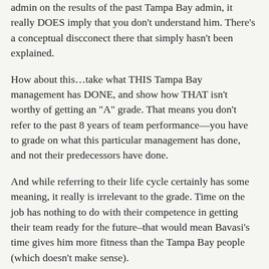admin on the results of the past Tampa Bay admin, it really DOES imply that you don’t understand him. There’s a conceptual discconect there that simply hasn’t been explained.
How about this…take what THIS Tampa Bay management has DONE, and show how THAT isn’t worthy of getting an “A” grade. That means you don’t refer to the past 8 years of team performance—you have to grade on what this particular management has done, and not their predecessors have done.
And while referring to their life cycle certainly has some meaning, it really is irrelevant to the grade. Time on the job has nothing to do with their competence in getting their team ready for the future–that would mean Bavasi’s time gives him more fitness than the Tampa Bay people (which doesn’t make sense).
Reply
Tuomas